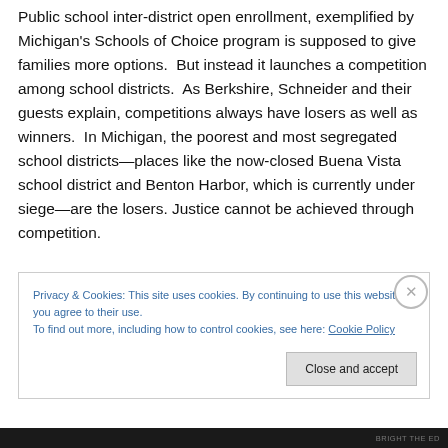Public school inter-district open enrollment, exemplified by Michigan's Schools of Choice program is supposed to give families more options. But instead it launches a competition among school districts. As Berkshire, Schneider and their guests explain, competitions always have losers as well as winners. In Michigan, the poorest and most segregated school districts—places like the now-closed Buena Vista school district and Benton Harbor, which is currently under siege—are the losers. Justice cannot be achieved through competition.
Privacy & Cookies: This site uses cookies. By continuing to use this website, you agree to their use.
To find out more, including how to control cookies, see here: Cookie Policy
Close and accept